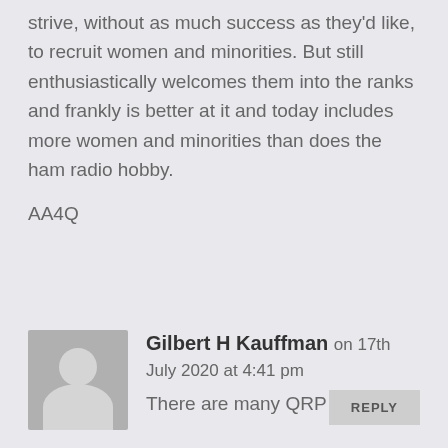strive, without as much success as they'd like, to recruit women and minorities. But still enthusiastically welcomes them into the ranks and frankly is better at it and today includes more women and minorities than does the ham radio hobby.
AA4Q
REPLY
[Figure (illustration): Gray avatar placeholder showing a silhouette with circular head and rounded body on gray background]
Gilbert H Kauffman on 17th July 2020 at 4:41 pm
There are many QRP